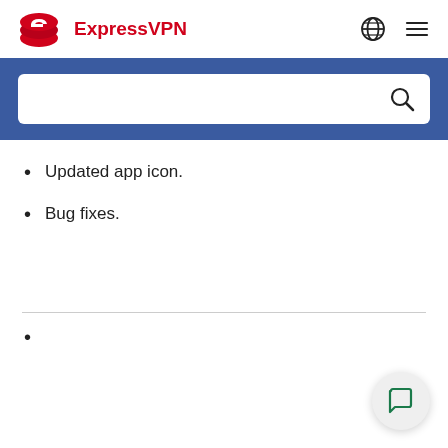[Figure (logo): ExpressVPN logo with red icon and red text 'ExpressVPN']
[Figure (screenshot): Search bar with blue background and magnifying glass icon]
Updated app icon.
Bug fixes.
[Figure (illustration): Green chat bubble icon in a circular button at bottom right]